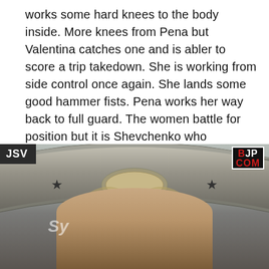works some hard knees to the body inside. More knees from Pena but Valentina catches one and is abler to score a trip takedown. She is working from side control once again. She lands some good hammer fists. Pena works her way back to full guard. The women battle for position but it is Shevchenko who maintains top control. Both fighters are landing some short shots here. Valentina postures up and drop down a right hand. Pena grabs an arm and searches for an armbar submission. Valentina defends and round one comes to an end.
[Figure (photo): A man holding up a large championship belt above his head. He has a white mustache, sunglasses, and muscular arms. A 'JSV' badge appears in the top-left corner and a 'BJP COM' logo in the top-right corner. The text 'Sy' is partially visible in the background.]